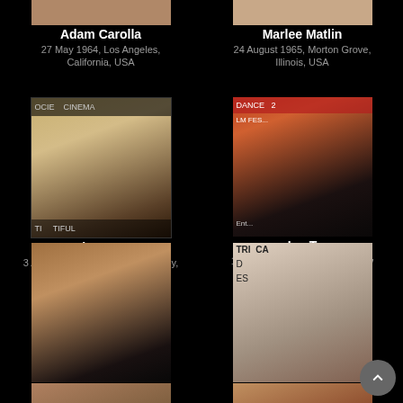[Figure (photo): Partial photo of person at top left (Adam Carolla)]
[Figure (photo): Partial photo of person at top right (Marlee Matlin)]
Adam Carolla
27 May 1964, Los Angeles, California, USA
Marlee Matlin
24 August 1965, Morton Grove, Illinois, USA
[Figure (photo): Photo of Martha Stewart at event with OCIE/CINEMA backdrop]
[Figure (photo): Photo of Ice-T at DANCE film festival event]
Martha Stewart
3 August 1941, Nutley, New Jersey, USA
Ice-T
16 February 1958, Newark, New Jersey, USA
[Figure (photo): Photo of Seth Green, dark background]
[Figure (photo): Photo of Carrie Fisher with sunglasses at TRIBECA event]
Seth Green
8 February 1974, Overbrook Park, Philadelphia, Pennsylvania, USA
Carrie Fisher
21 October 1956, Burbank, California, USA
[Figure (photo): Partial photo of person at bottom left]
[Figure (photo): Partial photo of person at bottom right wearing red cap]